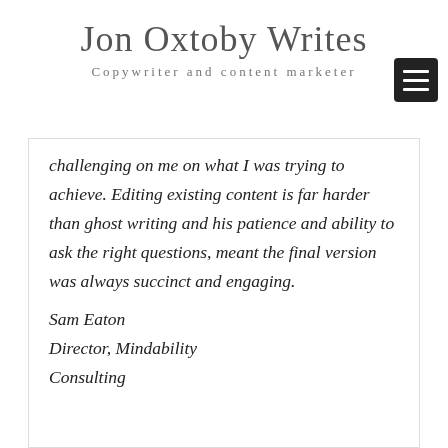Jon Oxtoby Writes
Copywriter and content marketer
challenging on me on what I was trying to achieve. Editing existing content is far harder than ghost writing and his patience and ability to ask the right questions, meant the final version was always succinct and engaging.
Sam Eaton
Director, Mindability Consulting